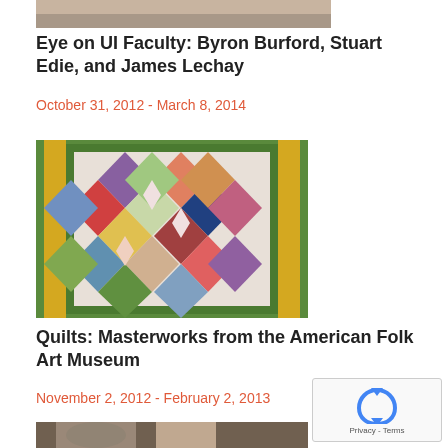[Figure (photo): Partial view of artwork, cropped at top of page]
Eye on UI Faculty: Byron Burford, Stuart Edie, and James Lechay
October 31, 2012 - March 8, 2014
[Figure (photo): Colorful quilt with geometric diamond patterns in green, yellow, red, blue, and white fabrics]
Quilts: Masterworks from the American Folk Art Museum
November 2, 2012 - February 2, 2013
[Figure (photo): Partial view of a person's face, cropped at bottom of page]